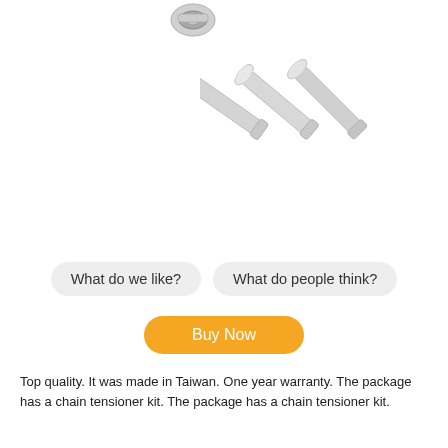[Figure (photo): Product photo showing three metallic cylindrical pins/bolts arranged diagonally, and a small mechanical part in upper left corner, on white background.]
What do we like?
What do people think?
Buy Now
Top quality. It was made in Taiwan. One year warranty. The package has a chain tensioner kit. The package has a chain tensioner kit.
Brand: Sthus
You might also be interested in our Bicycle Chain Lubricant list.
These Bicycle Chain Tool are worth looking into